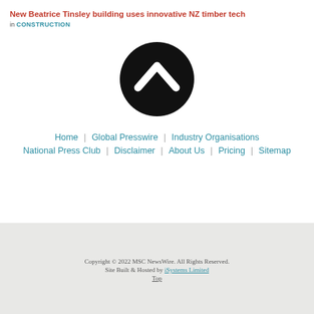New Beatrice Tinsley building uses innovative NZ timber tech
in CONSTRUCTION
[Figure (illustration): Black circle with white upward chevron arrow icon (back to top button)]
Home  |  Global Presswire  |  Industry Organisations  |  National Press Club  |  Disclaimer  |  About Us  |  Pricing  |  Sitemap
Copyright © 2022 MSC NewsWire. All Rights Reserved. Site Built & Hosted by iSystems Limited Top